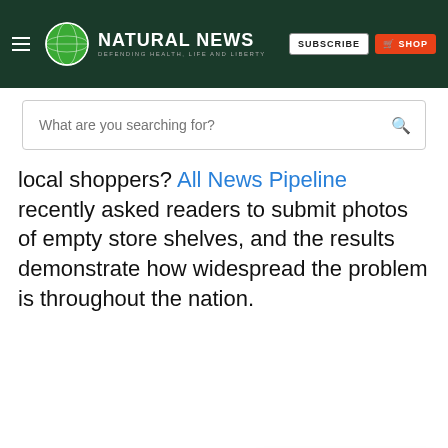NATURAL NEWS – DEFENDING HEALTH, LIFE AND LIBERTY
What are you searching for?
local shoppers? All News Pipeline recently asked readers to submit photos of empty store shelves, and the results demonstrate how widespread the problem is throughout the nation.
GET THE WORLD'S BEST NATURAL HEALTH NEWSLETTER DELIVERED STRAIGHT TO YOUR INBOX
Enter Your Email Address
BY CONTINUING TO BROWSE OUR SITE YOU AGREE TO OUR USE OF COOKIES AND OUR PRIVACY POLICY.
Agree and close